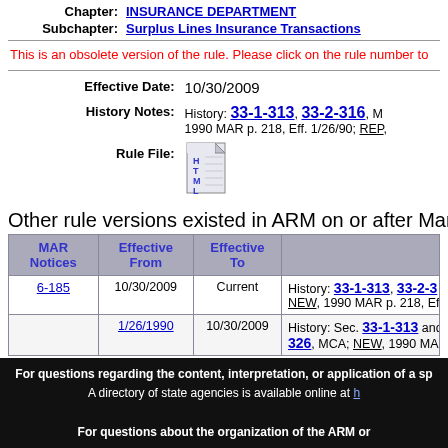Chapter: INSURANCE DEPARTMENT
Subchapter: Surplus Lines Insurance Transactions
This is an obsolete version of the rule. Please click on the rule number to
|  |  |
| --- | --- |
| Effective Date: | 10/30/2009 |
| History Notes: | History: 33-1-313, 33-2-316, M... 1990 MAR p. 218, Eff. 1/26/90; REP... |
| Rule File: | [HTML icon] |
Other rule versions existed in ARM on or after March 31, 200
| MAR Notices | Effective From | Effective To |  |
| --- | --- | --- | --- |
| 6-185 | 10/30/2009 | Current | History: 33-1-313, 33-2-3... NEW, 1990 MAR p. 218, Eff. 1... |
|  | 1/26/1990 | 10/30/2009 | History: Sec. 33-1-313 and... 326, MCA; NEW, 1990 MAR... |
Home | Search | About Us | Contact Us | Help
For questions regarding the content, interpretation, or application of a sp... A directory of state agencies is available online at h... For questions about the organization of the ARM or